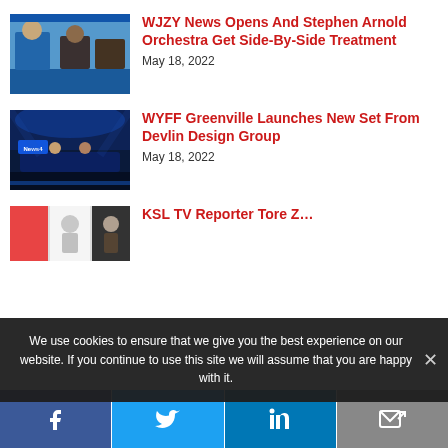[Figure (photo): Thumbnail of people, news broadcast screenshot]
WJZY News Opens And Stephen Arnold Orchestra Get Side-By-Side Treatment
May 18, 2022
[Figure (photo): WYFF News 4 studio set thumbnail]
WYFF Greenville Launches New Set From Devlin Design Group
May 18, 2022
[Figure (photo): Partial thumbnail, KSL TV article]
KSL TV Reporter Tore Z…
We use cookies to ensure that we give you the best experience on our website. If you continue to use this site we will assume that you are happy with it.
Facebook · Twitter · LinkedIn · Email